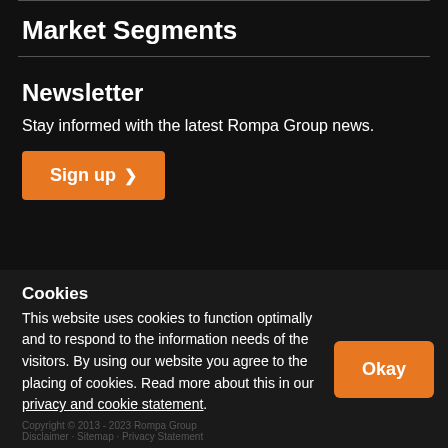Market Segments
Newsletter
Stay informed with the latest Rompa Group news.
Sign up
Cookies
This website uses cookies to function optimally and to respond to the information needs of the visitors. By using our website you agree to the placing of cookies. Read more about this in our privacy and cookie statement.
Okay
Copyright © 2013 - 2023 Rompa Group
Disclaimer · Sitemap · Privacy Statement